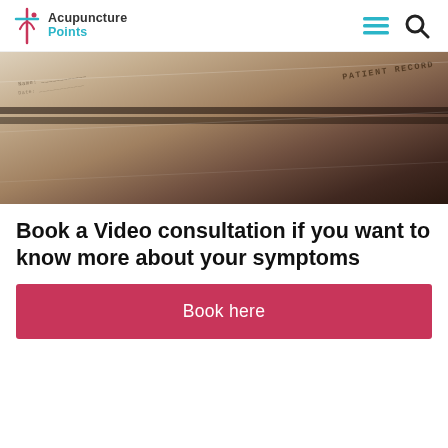Acupuncture Points
[Figure (photo): Close-up photo of a patient record book with visible text 'Patient Record' on a brown/tan leather-bound book with papers]
Book a Video consultation if you want to know more about your symptoms
Book here